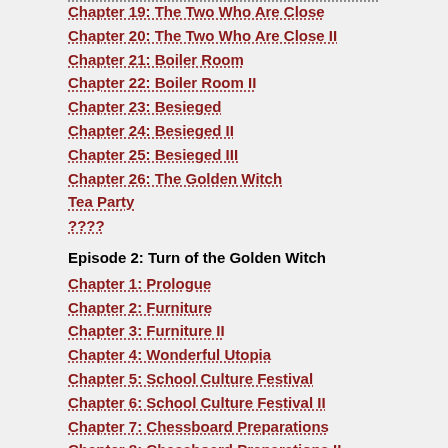Chapter 19: The Two Who Are Close
Chapter 20: The Two Who Are Close II
Chapter 21: Boiler Room
Chapter 22: Boiler Room II
Chapter 23: Besieged
Chapter 24: Besieged II
Chapter 25: Besieged III
Chapter 26: The Golden Witch
Tea Party
????
Episode 2: Turn of the Golden Witch
Chapter 1: Prologue
Chapter 2: Furniture
Chapter 3: Furniture II
Chapter 4: Wonderful Utopia
Chapter 5: School Culture Festival
Chapter 6: School Culture Festival II
Chapter 7: Chessboard Preparations
Chapter 8: Chessboard Preparations II
Chapter 9: Guest of Honor